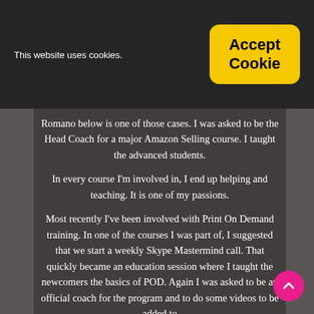This website uses cookies.
Romano below is one of those cases.  I was asked to be the Head Coach for a major Amazon Selling course.  I taught the advanced students.
In every course I'm involved in, I end up helping and teaching.  It is one of my passions.
Most recently I've been involved with Print On Demand training.  In one of the courses I was part of, I suggested that we start a weekly Skype Mastermind call.  That quickly became an education session where I taught the newcomers the basics of POD.  Again I was asked to be an official coach for the program and to do some videos to be added to